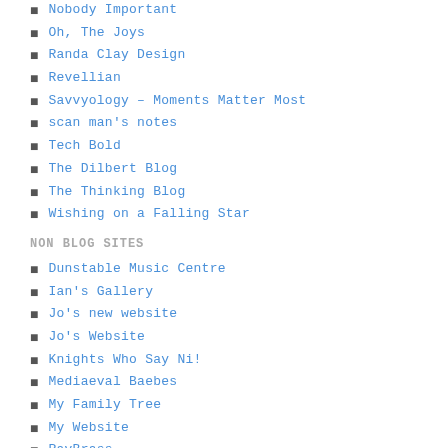Nobody Important
Oh, The Joys
Randa Clay Design
Revellian
Savvyology – Moments Matter Most
scan man's notes
Tech Bold
The Dilbert Blog
The Thinking Blog
Wishing on a Falling Star
NON BLOG SITES
Dunstable Music Centre
Ian's Gallery
Jo's new website
Jo's Website
Knights Who Say Ni!
Mediaeval Baebes
My Family Tree
My Website
RavBrass
Watling Lower School
[Figure (illustration): Add to Technorati Favorites icon with link text]